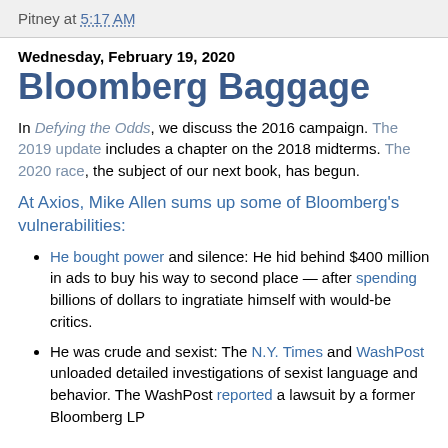Pitney at 5:17 AM
Wednesday, February 19, 2020
Bloomberg Baggage
In Defying the Odds, we discuss the 2016 campaign. The 2019 update includes a chapter on the 2018 midterms. The 2020 race, the subject of our next book, has begun.
At Axios, Mike Allen sums up some of Bloomberg's vulnerabilities:
He bought power and silence: He hid behind $400 million in ads to buy his way to second place — after spending billions of dollars to ingratiate himself with would-be critics.
He was crude and sexist: The N.Y. Times and WashPost unloaded detailed investigations of sexist language and behavior. The WashPost reported a lawsuit by a former Bloomberg LP